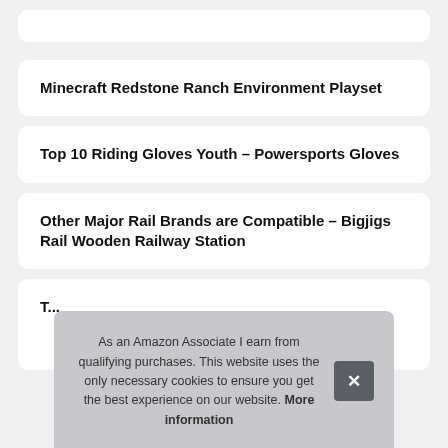Minecraft Redstone Ranch Environment Playset
Top 10 Riding Gloves Youth – Powersports Gloves
Other Major Rail Brands are Compatible – Bigjigs Rail Wooden Railway Station
As an Amazon Associate I earn from qualifying purchases. This website uses the only necessary cookies to ensure you get the best experience on our website. More information